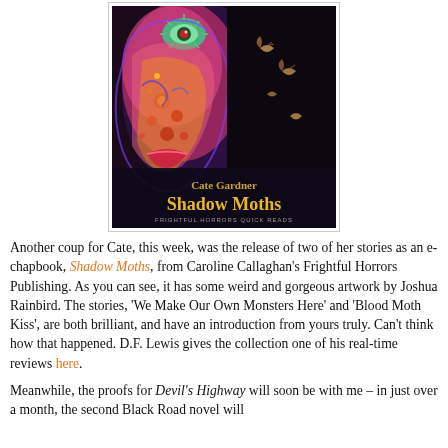[Figure (illustration): Book cover of 'Shadow Moths' by Cate Gardner, published by Frightful Horrors Quick Reads. Features a colorful surreal face with an eye motif and moths on a dark background. Text reads: Cate Gardner, Shadow Moths, FRIGHTFUL HORRORS QUICK READS.]
Another coup for Cate, this week, was the release of two of her stories as an e-chapbook, Shadow Moths, from Caroline Callaghan's Frightful Horrors Publishing. As you can see, it has some weird and gorgeous artwork by Joshua Rainbird. The stories, 'We Make Our Own Monsters Here' and 'Blood Moth Kiss', are both brilliant, and have an introduction from yours truly. Can't think how that happened. D.F. Lewis gives the collection one of his real-time reviews here.
Meanwhile, the proofs for Devil's Highway will soon be with me – in just over a month, the second Black Road novel will